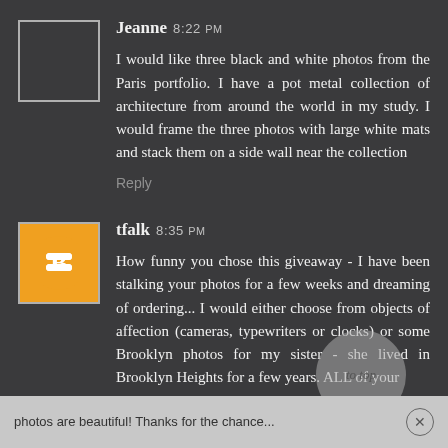Jeanne 8:22 PM
I would like three black and white photos from the Paris portfolio. I have a pot metal collection of architecture from around the world in my study. I would frame the three photos with large white mats and stack them on a side wall near the collection
Reply
tfalk 8:35 PM
How funny you chose this giveaway - I have been stalking your photos for a few weeks and dreaming of ordering... I would either choose from objects of affection (cameras, typewriters or clocks) or some Brooklyn photos for my sister - she lived in Brooklyn Heights for a few years. ALL of your photos are beautiful! Thanks for the chance...
photos are beautiful! Thanks for the chance...